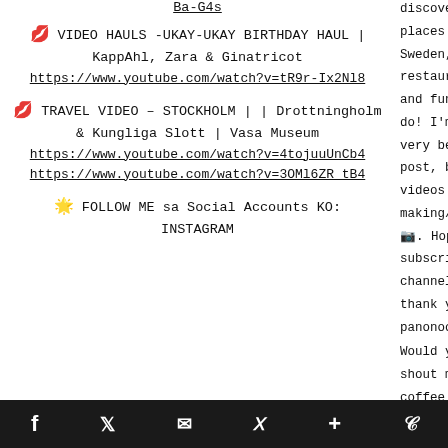Ba-G4s
💋 VIDEO HAULS -UKAY-UKAY BIRTHDAY HAUL | KappAhl, Zara & Ginatricot https://www.youtube.com/watch?v=tR9r-Ix2Nl8
💋 TRAVEL VIDEO – STOCKHOLM | | Drottningholm & Kungliga Slott | Vasa Museum https://www.youtube.com/watch?v=4tojuuUnCb4 https://www.youtube.com/watch?v=3OMl6ZR_tB4
🌟 FOLLOW ME sa Social Accounts KO: INSTAGRAM
discovering places around Sweden, go restaurants and fun stu do! I'm tryin very best in post, blogs a videos I love making/sha 📷. Hope yo subscribe to channel an thank you p panonood :)
Would you l shout me a coffee ☕ 🙏 https://www. com/paypal tipieMisay
SUBSCRIBE
f  🐦  ✉  P  +  W